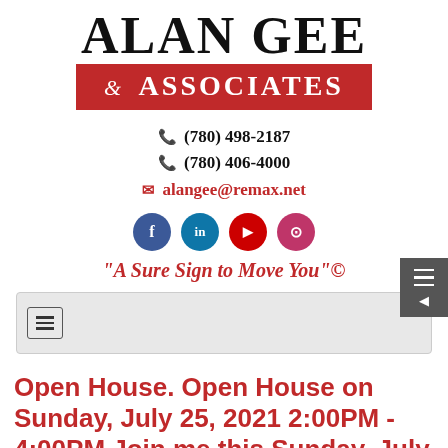[Figure (logo): Alan Gee & Associates logo — 'ALAN GEE' in large bold black serif text above a red banner reading '& ASSOCIATES' in white serif letters]
☎ (780) 498-2187
☎ (780) 406-4000
✉ alangee@remax.net
[Figure (infographic): Four social media icons in circles: Facebook (blue), LinkedIn (teal/blue), YouTube (red), Instagram (pink/red)]
"A Sure Sign to Move You"©
[Figure (screenshot): Navigation bar with hamburger menu icon on grey background]
Open House. Open House on Sunday, July 25, 2021 2:00PM - 4:00PM Join me this Sunday, July 25 from 2-4PM to